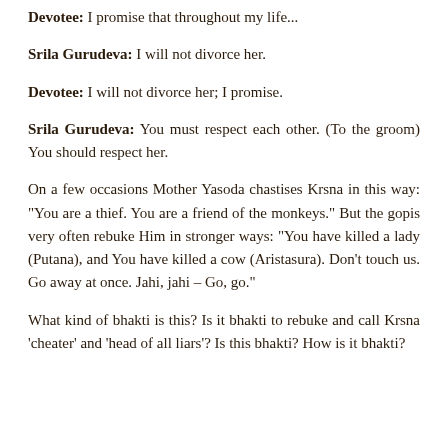Devotee: I promise that throughout my life...
Srila Gurudeva: I will not divorce her.
Devotee: I will not divorce her; I promise.
Srila Gurudeva: You must respect each other. (To the groom) You should respect her.
On a few occasions Mother Yasoda chastises Krsna in this way: "You are a thief. You are a friend of the monkeys." But the gopis very often rebuke Him in stronger ways: "You have killed a lady (Putana), and You have killed a cow (Aristasura). Don't touch us. Go away at once. Jahi, jahi – Go, go."
What kind of bhakti is this? Is it bhakti to rebuke and call Krsna 'cheater' and 'head of all liars'? Is this bhakti? How is it bhakti?